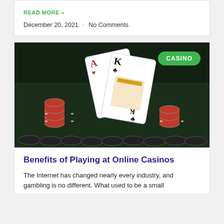READ MORE »
December 20, 2021 · No Comments
[Figure (photo): Casino playing cards (Ace of hearts and King of clubs) standing upright surrounded by red and black poker chips on a dark green felt background, with a green 'CASINO' badge in the top right corner.]
Benefits of Playing at Online Casinos
The Internet has changed nearly every industry, and gambling is no different. What used to be a small